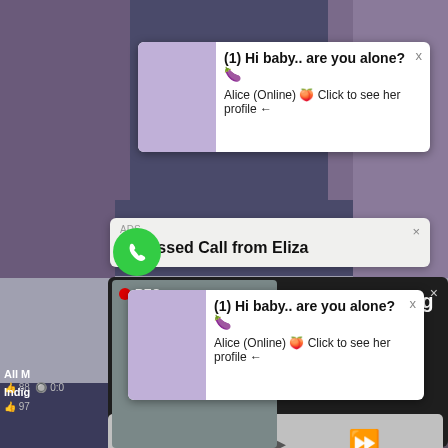[Figure (screenshot): Screenshot of a website with multiple overlapping popup ad notifications and background video thumbnails. Shows adult ad popups with text about messaging and dating.]
(1) Hi baby.. are you alone?🍆
Alice (Online) 🍑 Click to see her profile ←
ADS
(1)Missed Call from Eliza
(1) Hi baby.. are you alone?🍆
Alice (Online) 🍑 Click to see her profile ←
ADS • 🍑 Dating for men! Find bad girls here 🍑
All M
👍 88 🔘 0:0
Indig
👍 97